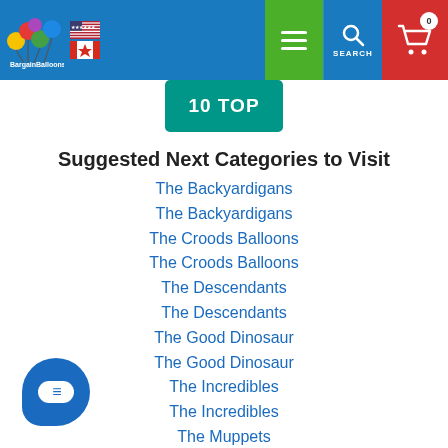BargainBalloons navigation bar with logo, US/Canada flags, menu, search, and cart
[Figure (screenshot): Partial teal banner showing '10 TOP' text]
Suggested Next Categories to Visit
The Backyardigans
The Backyardigans
The Croods Balloons
The Croods Balloons
The Descendants
The Descendants
The Good Dinosaur
The Good Dinosaur
The Incredibles
The Incredibles
The Muppets
The Muppets